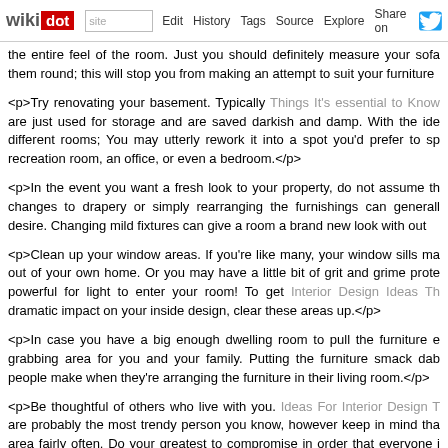wikidot | site Edit History Tags Source Explore Share on [Twitter]
<p>the entire feel of the room. Just you should definitely measure your sofa them round; this will stop you from making an attempt to suit your furniture</p>
<p>Try renovating your basement. Typically Things It's essential to Know are just used for storage and are saved darkish and damp. With the ide different rooms; You may utterly rework it into a spot you'd prefer to sp recreation room, an office, or even a bedroom.</p>
<p>In the event you want a fresh look to your property, do not assume th changes to drapery or simply rearranging the furnishings can generall desire. Changing mild fixtures can give a room a brand new look with out</p>
<p>Clean up your window areas. If you're like many, your window sills ma out of your own home. Or you may have a little bit of grit and grime prote powerful for light to enter your room! To get Interior Design Ideas Th dramatic impact on your inside design, clear these areas up.</p>
<p>In case you have a big enough dwelling room to pull the furniture e grabbing area for you and your family. Putting the furniture smack dab people make when they're arranging the furniture in their living room.</p>
<p>Be thoughtful of others who live with you. Ideas For Interior Design T are probably the most trendy person you know, however keep in mind tha area fairly often. Do your greatest to compromise in order that everyone i </p>
<p> Save Cash With These Interior Design Tips is simply as complicated taught and take the time to let recent ideas sink in, you will simply see were all tried and true by many earlier than you, and may simply work in y